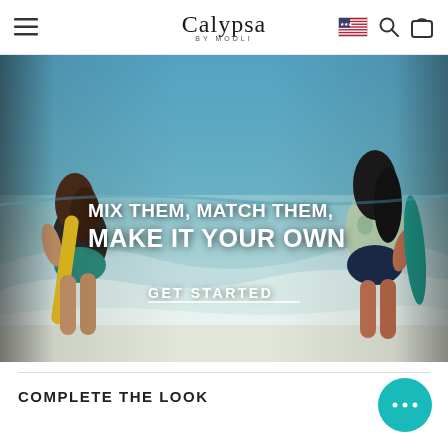Calypsa BY MODLI — Navigation bar with hamburger menu, logo, US flag, search icon, cart icon
[Figure (photo): Hero banner image of two women at a beach carrying surfboards, with overlay text 'MIX THEM, MATCH THEM, MAKE IT YOUR OWN' and a 'GET STARTED' call-to-action button]
COMPLETE THE LOOK